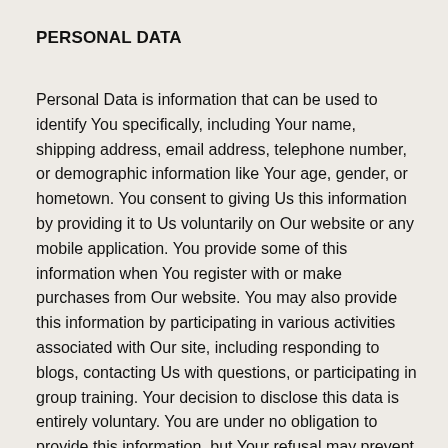PERSONAL DATA
Personal Data is information that can be used to identify You specifically, including Your name, shipping address, email address, telephone number, or demographic information like Your age, gender, or hometown. You consent to giving Us this information by providing it to Us voluntarily on Our website or any mobile application. You provide some of this information when You register with or make purchases from Our website. You may also provide this information by participating in various activities associated with Our site, including responding to blogs, contacting Us with questions, or participating in group training. Your decision to disclose this data is entirely voluntary. You are under no obligation to provide this information, but Your refusal may prevent You from accessing